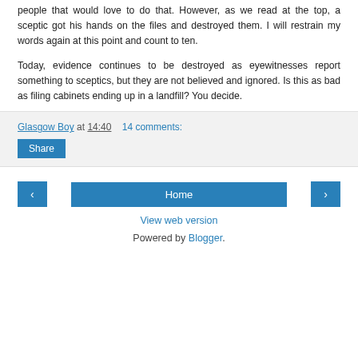people that would love to do that. However, as we read at the top, a sceptic got his hands on the files and destroyed them. I will restrain my words again at this point and count to ten.
Today, evidence continues to be destroyed as eyewitnesses report something to sceptics, but they are not believed and ignored. Is this as bad as filing cabinets ending up in a landfill? You decide.
Glasgow Boy at 14:40    14 comments:
Share
‹    Home    ›
View web version
Powered by Blogger.